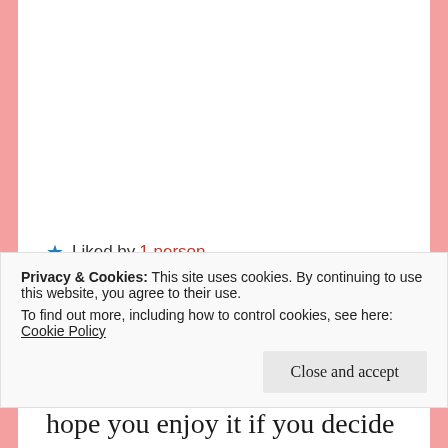reviews on this one, so am glad to hear that you really loved it. I had heard that the characters were all very unlikable.
Liked by 1 person
LIFEWITHALLTHEBOOKS
January 31, 2021 at 12:44 am
REPLY →
Privacy & Cookies: This site uses cookies. By continuing to use this website, you agree to their use. To find out more, including how to control cookies, see here: Cookie Policy
Close and accept
hope you enjoy it if you decide